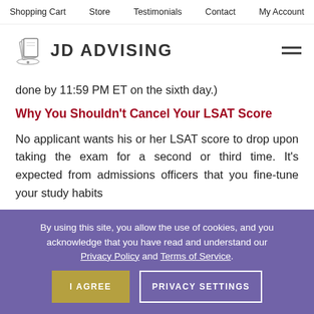Shopping Cart  Store  Testimonials  Contact  My Account
[Figure (logo): JD Advising logo with diploma icon and text 'JD ADVISING']
done by 11:59 PM ET on the sixth day.)
Why You Shouldn't Cancel Your LSAT Score
No applicant wants his or her LSAT score to drop upon taking the exam for a second or third time. It's expected from admissions officers that you fine-tune your study habits
By using this site, you allow the use of cookies, and you acknowledge that you have read and understand our Privacy Policy and Terms of Service.